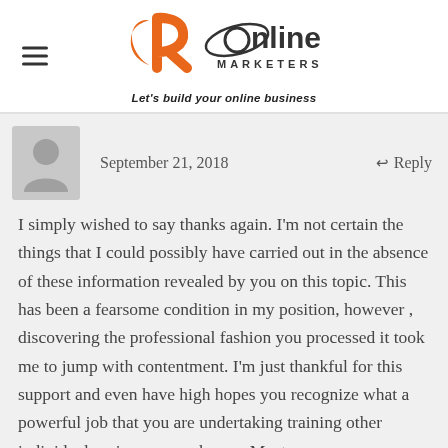[Figure (logo): JR Online Marketers logo with tagline 'Let's build your online business']
September 21, 2018
Reply
I simply wished to say thanks again. I'm not certain the things that I could possibly have carried out in the absence of these information revealed by you on this topic. This has been a fearsome condition in my position, however , discovering the professional fashion you processed it took me to jump with contentment. I'm just thankful for this support and even have high hopes you recognize what a powerful job that you are undertaking training other individuals using your webpage. Most